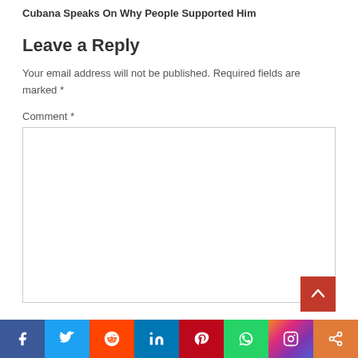Cubana Speaks On Why People Supported Him
Leave a Reply
Your email address will not be published. Required fields are marked *
Comment *
[Figure (screenshot): Comment text area input box, empty]
[Figure (infographic): Social sharing bar with icons: Facebook, Twitter, Reddit, LinkedIn, Pinterest, WhatsApp, Instagram, Share]